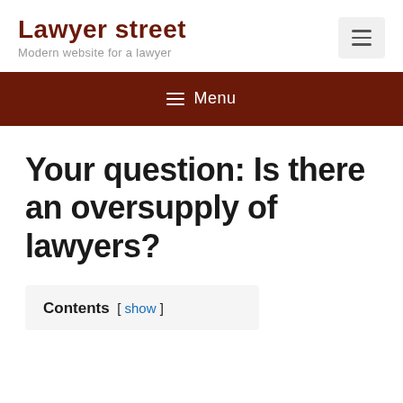Lawyer street — Modern website for a lawyer
Your question: Is there an oversupply of lawyers?
Contents [ show ]